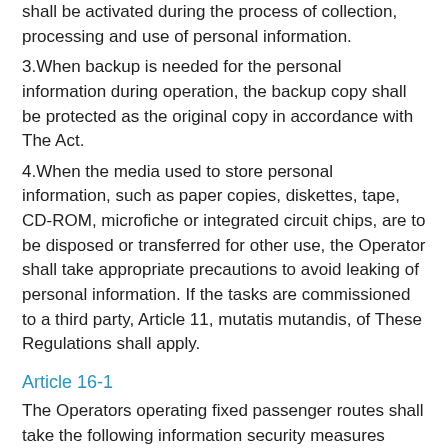shall be activated during the process of collection, processing and use of personal information.
3.When backup is needed for the personal information during operation, the backup copy shall be protected as the original copy in accordance with The Act.
4.When the media used to store personal information, such as paper copies, diskettes, tape, CD-ROM, microfiche or integrated circuit chips, are to be disposed or transferred for other use, the Operator shall take appropriate precautions to avoid leaking of personal information. If the tasks are commissioned to a third party, Article 11, mutatis mutandis, of These Regulations shall apply.
Article 16-1
The Operators operating fixed passenger routes shall take the following information security measures when collecting, processing, or utilizing personal information through an information and communications system:
1. Confirmation and protection mechanism for user identity.
2. Monitoring mechanism for the display of personal